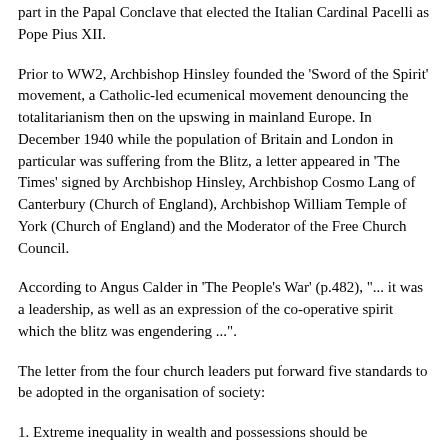part in the Papal Conclave that elected the Italian Cardinal Pacelli as Pope Pius XII.
Prior to WW2, Archbishop Hinsley founded the 'Sword of the Spirit' movement, a Catholic-led ecumenical movement denouncing the totalitarianism then on the upswing in mainland Europe. In December 1940 while the population of Britain and London in particular was suffering from the Blitz, a letter appeared in 'The Times' signed by Archbishop Hinsley, Archbishop Cosmo Lang of Canterbury (Church of England), Archbishop William Temple of York (Church of England) and the Moderator of the Free Church Council.
According to Angus Calder in 'The People's War' (p.482), "... it was a leadership, as well as an expression of the co-operative spirit which the blitz was engendering ...".
The letter from the four church leaders put forward five standards to be adopted in the organisation of society:
1. Extreme inequality in wealth and possessions should be abolished;